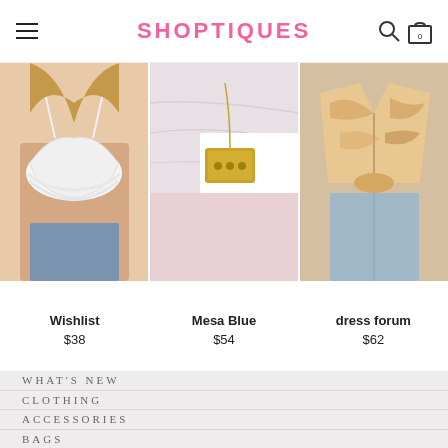SHOPTIQUES
[Figure (photo): Three product photos side by side: a woman wearing a white lace bralette, a gold pendant necklace on marble, and a woman wearing a tie-dye button-up shirt with jeans]
Wishlist
$38
Mesa Blue
$54
dress forum
$62
WHAT'S NEW
CLOTHING
ACCESSORIES
BAGS